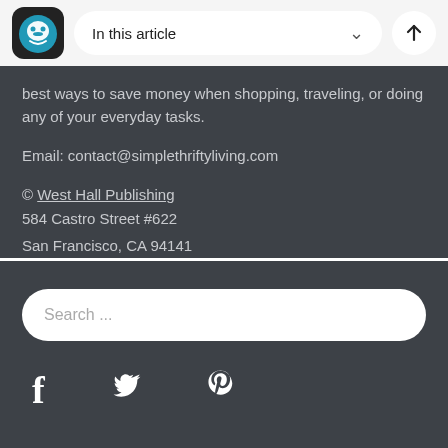In this article
best ways to save money when shopping, traveling, or doing any of your everyday tasks.
Email: contact@simplethriftyliving.com
© West Hall Publishing
584 Castro Street #622
San Francisco, CA 94141
Search ...
[Figure (other): Social media icons: Facebook, Twitter, Pinterest]